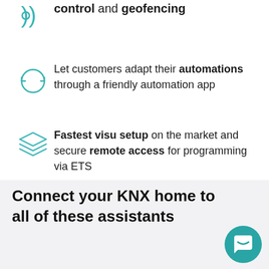control and geofencing
Let customers adapt their automations through a friendly automation app
Fastest visu setup on the market and secure remote access for programming via ETS
Connect your KNX home to all of these assistants